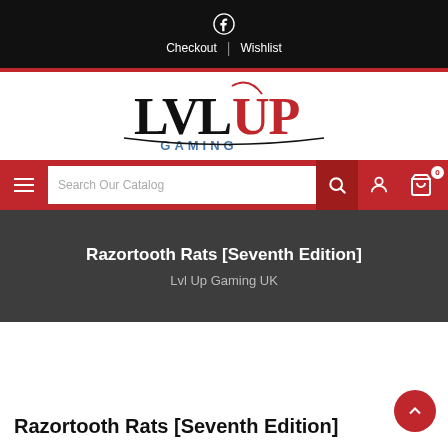Checkout | Wishlist
[Figure (logo): LVL Up Gaming logo with red and black stylized text and GAMING subtitle]
Search Our Catalog
Razortooth Rats [Seventh Edition]
Lvl Up Gaming UK
Razortooth Rats [Seventh Edition]